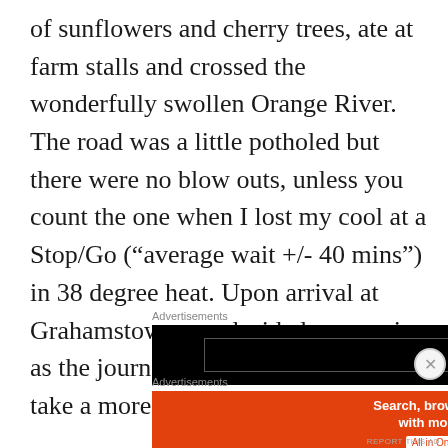of sunflowers and cherry trees, ate at farm stalls and crossed the wonderfully swollen Orange River. The road was a little potholed but there were no blow outs, unless you count the one when I lost my cool at a Stop/Go (“average wait +/- 40 mins”) in 38 degree heat. Upon arrival at Grahamstown, we decided, as scenic as the journey had been, we would take a more direct route home.
Advertisements
[Figure (other): Black advertisement banner with inner grey-bordered rectangle]
Advertisements
[Figure (other): DuckDuckGo advertisement: orange background with text 'Search, browse, and email with more privacy. All in One Free App' and DuckDuckGo logo on dark right panel]